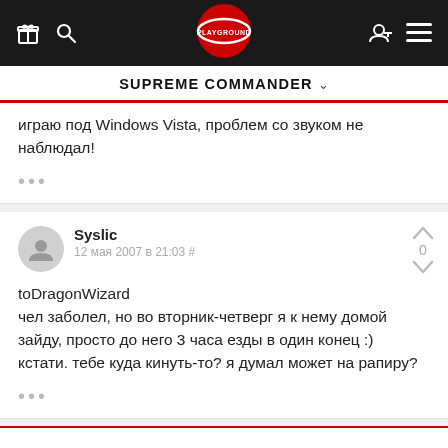SUPREME COMMANDER
играю под Windows Vista, проблем со звуком не наблюдал!
Syslic
12 мая 2007 в 21:03 #
toDragonWizard
чел заболел, но во вторник-четверг я к нему домой зайду, просто до него 3 часа езды в один конец :)
кстати. тебе куда кинуть-то? я думал может на рапиру?